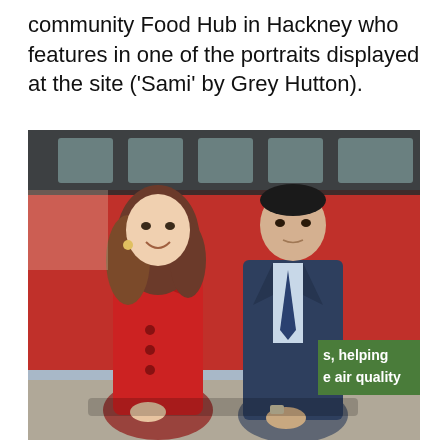community Food Hub in Hackney who features in one of the portraits displayed at the site ('Sami' by Grey Hutton).
[Figure (photo): Two people standing outdoors in front of a red bus. The woman on the left is wearing a bright red double-breasted coat with brown hair. The man on the right is wearing a dark navy suit with a blue tie. A green sign on the bus reads 's, helping e air quality'.]